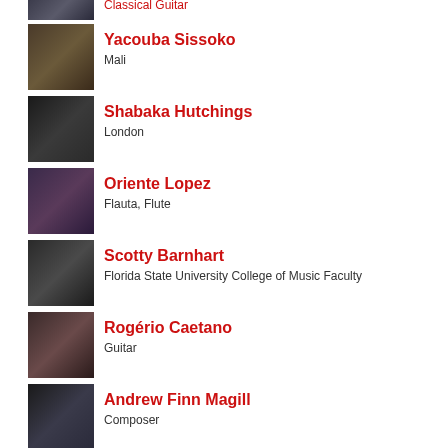Classical Guitar
Yacouba Sissoko — Mali
Shabaka Hutchings — London
Oriente Lopez — Flauta, Flute
Scotty Barnhart — Florida State University College of Music Faculty
Rogério Caetano — Guitar
Andrew Finn Magill — Composer
Shaun Martin